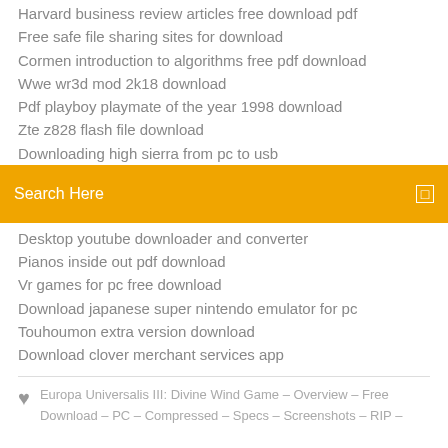Harvard business review articles free download pdf
Free safe file sharing sites for download
Cormen introduction to algorithms free pdf download
Wwe wr3d mod 2k18 download
Pdf playboy playmate of the year 1998 download
Zte z828 flash file download
Downloading high sierra from pc to usb
[Figure (screenshot): Orange search bar with text 'Search Here' and a small square icon on the right]
Desktop youtube downloader and converter
Pianos inside out pdf download
Vr games for pc free download
Download japanese super nintendo emulator for pc
Touhoumon extra version download
Download clover merchant services app
Europa Universalis III: Divine Wind Game – Overview – Free Download – PC – Compressed – Specs – Screenshots – RIP –